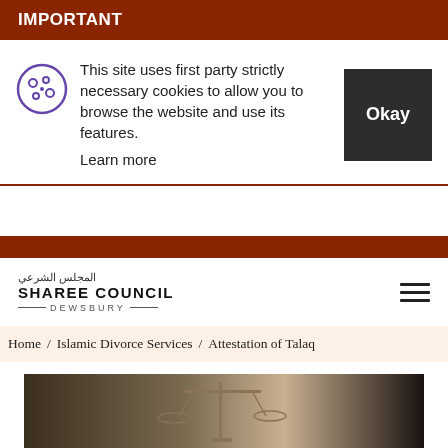IMPORTANT
This site uses first party strictly necessary cookies to allow you to browse the website and use its features.
Learn more
[Figure (logo): Sharee Council Dewsbury logo with Arabic text and decorative lines]
Home / Islamic Divorce Services / Attestation of Talaq
[Figure (photo): Photo of scales of justice with blurred background figure]